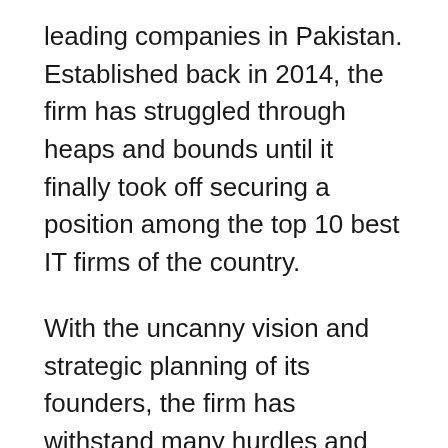leading companies in Pakistan. Established back in 2014, the firm has struggled through heaps and bounds until it finally took off securing a position among the top 10 best IT firms of the country.
With the uncanny vision and strategic planning of its founders, the firm has withstand many hurdles and managed to deliver promising services and products. A close group of talented professionals who were hardly four to five in number started the company. However, within a short period of time, the firm has grown huge and expanded to more than two to three regions in the world. At present, there are